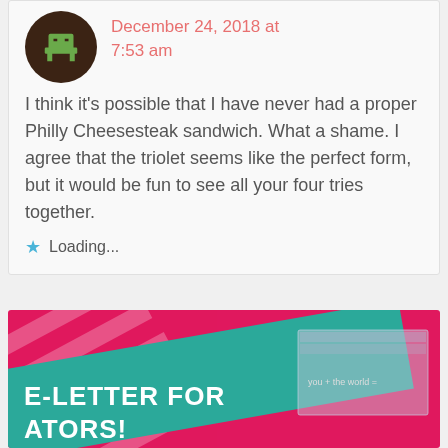December 24, 2018 at 7:53 am
I think it's possible that I have never had a proper Philly Cheesesteak sandwich. What a shame. I agree that the triolet seems like the perfect form, but it would be fun to see all your four tries together.
Loading...
[Figure (illustration): Pink and teal banner advertisement partially visible at the bottom. Text reads 'E-LETTER FOR' and 'ATORS!' on a teal diagonal banner over a hot pink background with diagonal white stripes. Right side shows a package/product image with text 'you + the world ='.]